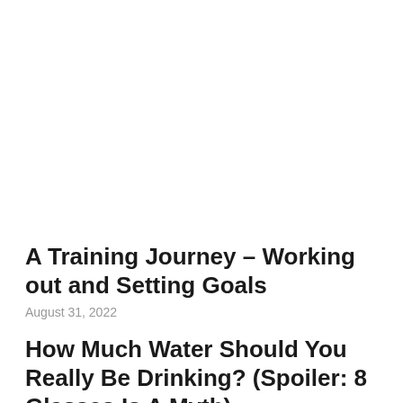A Training Journey – Working out and Setting Goals
August 31, 2022
How Much Water Should You Really Be Drinking? (Spoiler: 8 Glasses Is A Myth)